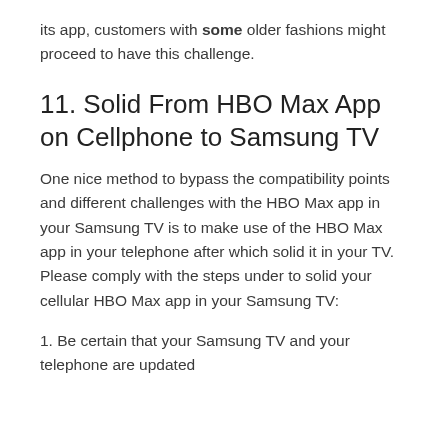its app, customers with some older fashions might proceed to have this challenge.
11. Solid From HBO Max App on Cellphone to Samsung TV
One nice method to bypass the compatibility points and different challenges with the HBO Max app in your Samsung TV is to make use of the HBO Max app in your telephone after which solid it in your TV. Please comply with the steps under to solid your cellular HBO Max app in your Samsung TV:
1. Be certain that your Samsung TV and your telephone are updated